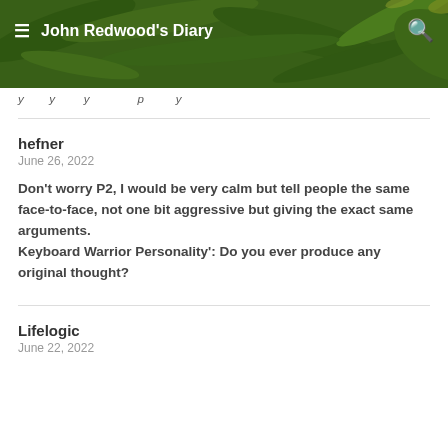John Redwood's Diary
[Figure (photo): Green tropical plant leaves background photo used as the blog header banner image]
…
hefner
June 26, 2022

Don't worry P2, I would be very calm but tell people the same face-to-face, not one bit aggressive but giving the exact same arguments.
Keyboard Warrior Personality': Do you ever produce any original thought?
Lifelogic
June 22, 2022